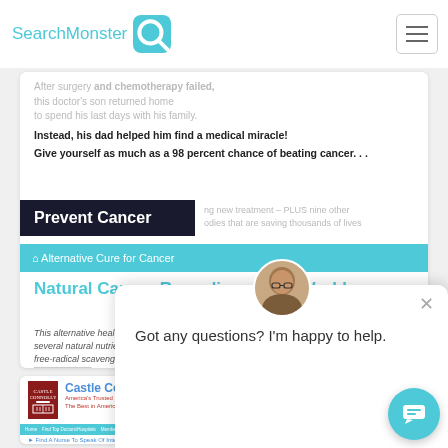SearchMonster
[Figure (screenshot): Search engine results page showing cancer-related article preview with 'Prevent Cancer' label overlay]
After surgery and chemotherapy failed, this doctor's son returned home to spend his last days with his family.
Instead, his dad helped him find a medical miracle!
Give yourself as much as a 98 percent chance of beating cancer...
Prevent Cancer
ing new treatment – PLUS nine other odies that are saving thousands of lives
Alternative Cure for Cancer
Natural Cancer Remedies....That Work!
This alternative health breakthrough combines several natural nutrients that help DNA repair and free-radical scavenging, together with another nutri...
Got any questions? I'm happy to help.
[Figure (screenshot): Castle Connolly Medical Ltd. website screenshot showing their logo and navigation bar]